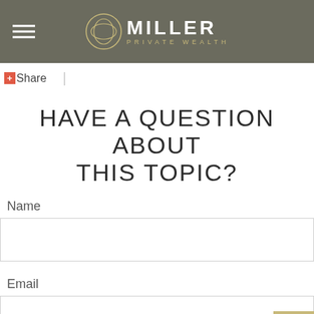MILLER PRIVATE WEALTH
+ Share |
HAVE A QUESTION ABOUT THIS TOPIC?
Name
Email
Message